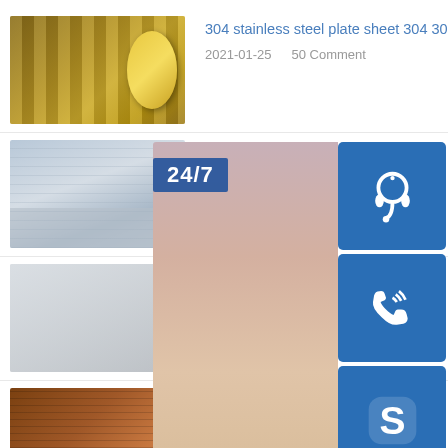[Figure (photo): Steel coil roll with yellow protective film]
304 stainless steel plate sheet 304 304l
2021-01-25    50 Comment
[Figure (photo): Aluminum flat bar steel construction materials stacked]
aluminum flat bar steel construct...
2021-01-25    50 Comment
[Figure (photo): Material specification steel sheet]
material specification equivalents...
2021-01-25    50 Comment
[Figure (photo): Punching plate suppliers stack of plates]
punching plate suppliers and ma...
2021-01-25    50 Comment
[Figure (infographic): 24/7 customer service overlay widget with headset icon, phone icon, Skype icon and online live button, with woman customer service representative]
recent articles
whats grade 202 stainless steel
stainless steel 430 bright 3cr12 stainless steel plates
metal steel plant planter s